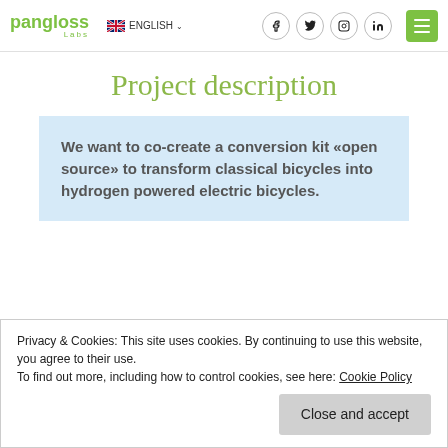pangloss Labs | ENGLISH | social icons | menu
Project description
We want to co-create a conversion kit «open source» to transform classical bicycles into hydrogen powered electric bicycles.
Privacy & Cookies: This site uses cookies. By continuing to use this website, you agree to their use.
To find out more, including how to control cookies, see here: Cookie Policy
Close and accept